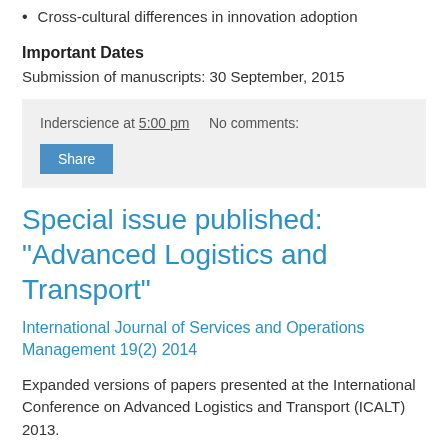Cross-cultural differences in innovation adoption
Important Dates
Submission of manuscripts: 30 September, 2015
Inderscience at 5:00 pm   No comments:
Share
Special issue published: "Advanced Logistics and Transport"
International Journal of Services and Operations Management 19(2) 2014
Expanded versions of papers presented at the International Conference on Advanced Logistics and Transport (ICALT) 2013.
Towards a framework for ontology-based